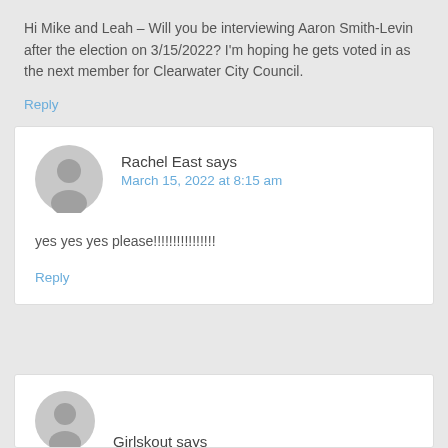Hi Mike and Leah – Will you be interviewing Aaron Smith-Levin after the election on 3/15/2022? I'm hoping he gets voted in as the next member for Clearwater City Council.
Reply
Rachel East says
March 15, 2022 at 8:15 am
yes yes yes please!!!!!!!!!!!!!!!!
Reply
Girlskout says